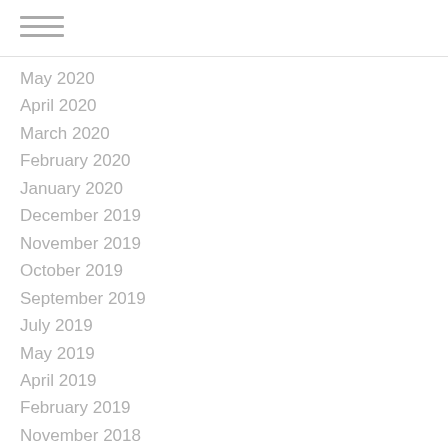≡
May 2020
April 2020
March 2020
February 2020
January 2020
December 2019
November 2019
October 2019
September 2019
July 2019
May 2019
April 2019
February 2019
November 2018
October 2018
September 2018
August 2018
July 2018